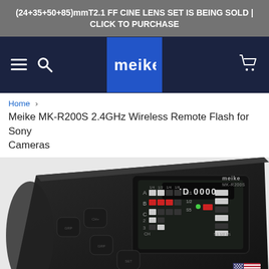(24+35+50+85)mmT2.1 FF CINE LENS SET IS BEING SOLD | CLICK TO PURCHASE
[Figure (logo): Meike brand navigation bar with hamburger menu, search icon, Meike blue logo square, and shopping cart icon on dark navy background]
Home › Meike MK-R200S 2.4GHz Wireless Remote Flash for Sony Cameras
[Figure (photo): Close-up photo of a black Meike MK-R200S wireless remote flash unit showing its LCD display panel with ID 0000, channel/group selectors A/B/C, ratio settings, and multiple control buttons on the back of the device. US flag icon in bottom right corner.]